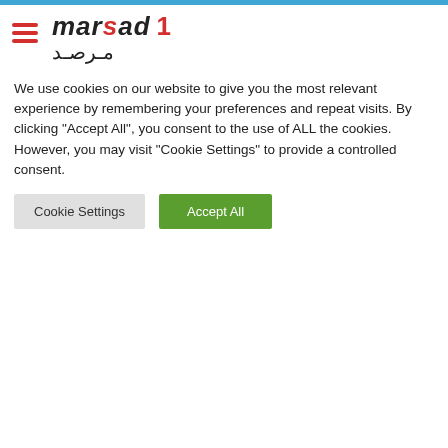[Figure (logo): Marsad 1 Egypt logo with Arabic text and tagline 'The Online Security Sector Observatory']
Home / Normal / Sisi and S. Korea's president discuss bilateral relations in Cairo
[Figure (photo): Photo of officials in formal attire with masks at an outdoor ceremony with flags]
We use cookies on our website to give you the most relevant experience by remembering your preferences and repeat visits. By clicking "Accept All", you consent to the use of ALL the cookies. However, you may visit "Cookie Settings" to provide a controlled consent.
Cookie Settings   Accept All